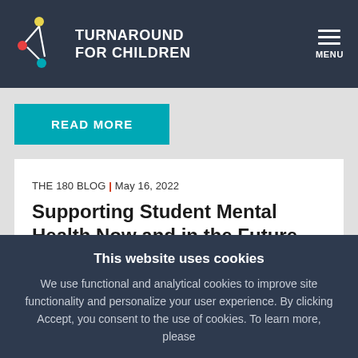TURNAROUND FOR CHILDREN
READ MORE
THE 180 BLOG | May 16, 2022
Supporting Student Mental Health Now and in the Future
This website uses cookies
We use functional and analytical cookies to improve site functionality and personalize your user experience. By clicking Accept, you consent to the use of cookies. To learn more, please